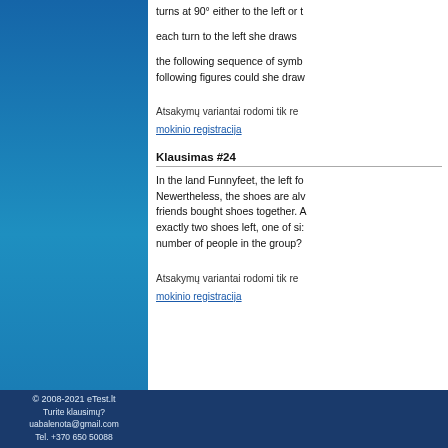turns at 90° either to the left or t...
each turn to the left she draws ...
the following sequence of symb... following figures could she draw...
Atsakymų variantai rodomi tik re... mokinio registracija
Klausimas #24
In the land Funnyfeet, the left fo... Newertheless, the shoes are alw... friends bought shoes together. A... exactly two shoes left, one of si... number of people in the group?
Atsakymų variantai rodomi tik re... mokinio registracija
© 2008-2021 eTest.lt
Turite klausimų?
uabalenota@gmail.com
Tel. +370 650 50088